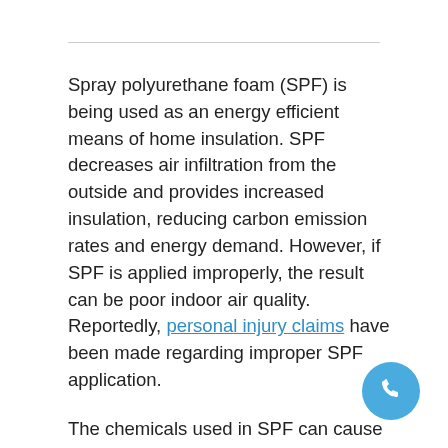Spray polyurethane foam (SPF) is being used as an energy efficient means of home insulation. SPF decreases air infiltration from the outside and provides increased insulation, reducing carbon emission rates and energy demand. However, if SPF is applied improperly, the result can be poor indoor air quality. Reportedly, personal injury claims have been made regarding improper SPF application.
The chemicals used in SPF can cause irritation of the eyes, nose, skin, and